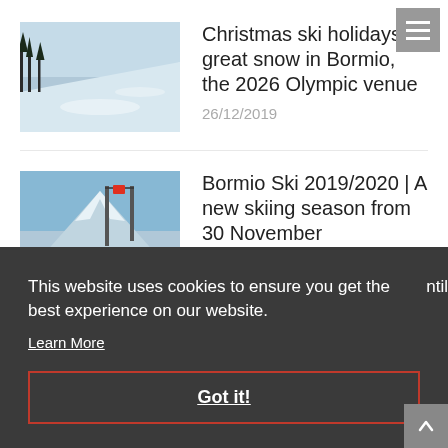[Figure (screenshot): Hamburger menu icon (three horizontal lines) on grey background, top right corner]
[Figure (photo): Thumbnail photo of snowy ski slope in Bormio]
Christmas ski holidays: great snow in Bormio, the 2026 Olympic venue
26/12/2019
[Figure (photo): Thumbnail photo of ski lift and snowy mountain in Bormio]
Bormio Ski 2019/2020 | A new skiing season from 30 November
29/11/2019
This website uses cookies to ensure you get the best experience on our website.
Learn More
Got it!